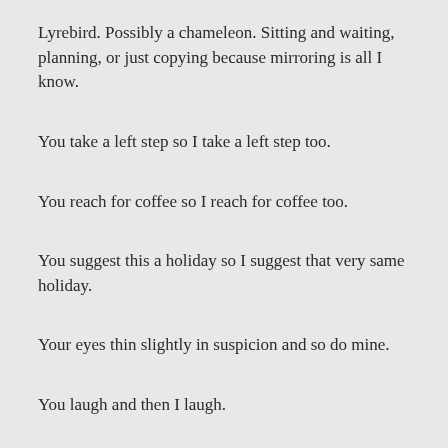Lyrebird. Possibly a chameleon. Sitting and waiting, planning, or just copying because mirroring is all I know.
You take a left step so I take a left step too.
You reach for coffee so I reach for coffee too.
You suggest this a holiday so I suggest that very same holiday.
Your eyes thin slightly in suspicion and so do mine.
You laugh and then I laugh.
I even express the slight discomfort that comes across one’s face when they feel they are being mirrored. Or is it you that is mirroring me? Deep down you know but you’re not sure enough to say anything and that’s all I need.
Now the train tells me I’m at where I’m not meant to be and I get off one more time. For another day I tell myself that maybe I take life a little too seriously and think a little too much. I see what’s ahead and I can’t stop chewing the inside of my mouth. At this very moment when